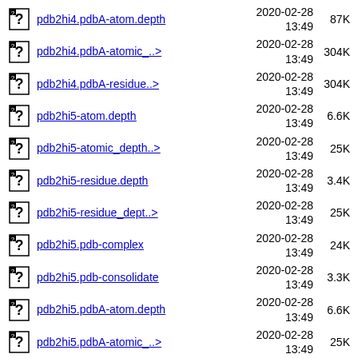pdb2hi4.pdbA-atom.depth | 2020-02-28 13:49 | 87K
pdb2hi4.pdbA-atomic_..> | 2020-02-28 13:49 | 304K
pdb2hi4.pdbA-residue..> | 2020-02-28 13:49 | 304K
pdb2hi5-atom.depth | 2020-02-28 13:49 | 6.6K
pdb2hi5-atomic_depth..> | 2020-02-28 13:49 | 25K
pdb2hi5-residue.depth | 2020-02-28 13:49 | 3.4K
pdb2hi5-residue_dept..> | 2020-02-28 13:49 | 25K
pdb2hi5.pdb-complex | 2020-02-28 13:49 | 24K
pdb2hi5.pdb-consolidate | 2020-02-28 13:49 | 3.3K
pdb2hi5.pdbA-atom.depth | 2020-02-28 13:49 | 6.6K
pdb2hi5.pdbA-atomic_..> | 2020-02-28 13:49 | 25K
pdb2hi5.pdbA-residue..> | 2020-02-28